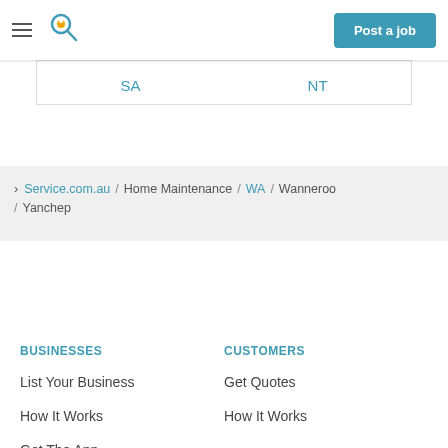[Figure (screenshot): Navigation bar with hamburger menu, location search icon, and 'Post a job' teal button]
SA / NT
> Service.com.au / Home Maintenance / WA / Wanneroo / Yanchep
BUSINESSES
CUSTOMERS
List Your Business
Get Quotes
How It Works
How It Works
Get The App